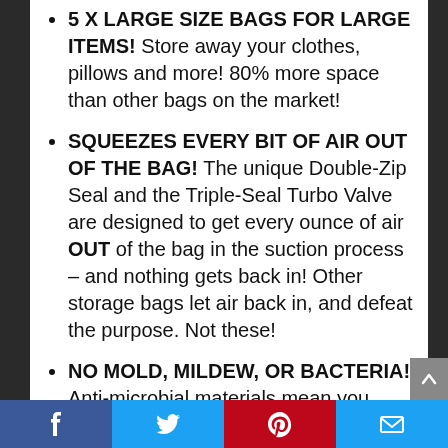5 X LARGE SIZE BAGS FOR LARGE ITEMS! Store away your clothes, pillows and more! 80% more space than other bags on the market!
SQUEEZES EVERY BIT OF AIR OUT OF THE BAG! The unique Double-Zip Seal and the Triple-Seal Turbo Valve are designed to get every ounce of air OUT of the bag in the suction process – and nothing gets back in! Other storage bags let air back in, and defeat the purpose. Not these!
NO MOLD, MILDEW, OR BACTERIA! Anti-microbial materials mean you
Facebook | Twitter | Pinterest | Email